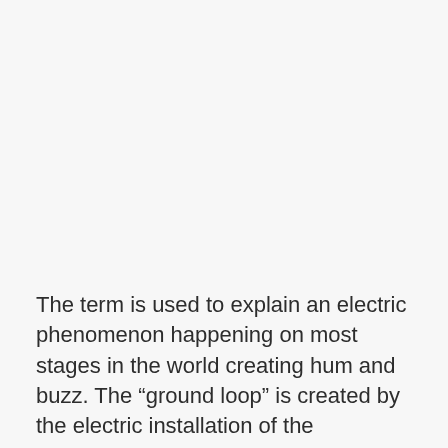The term is used to explain an electric phenomenon happening on most stages in the world creating hum and buzz. The “ground loop” is created by the electric installation of the building/venue/forgotten Swedish old barn. The electric current travels from one device to the